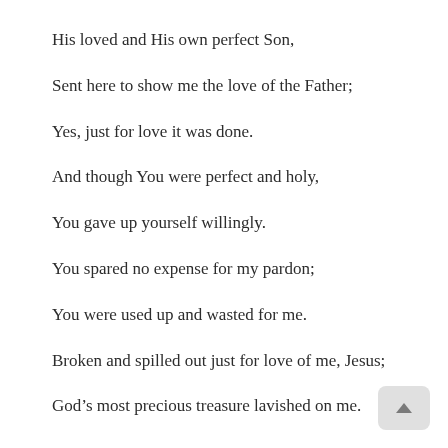His loved and His own perfect Son,
Sent here to show me the love of the Father;
Yes, just for love it was done.
And though You were perfect and holy,
You gave up yourself willingly.
You spared no expense for my pardon;
You were used up and wasted for me.
Broken and spilled out just for love of me, Jesus;
God’s most precious treasure lavished on me.